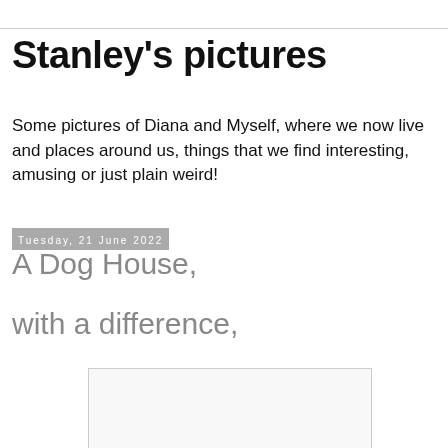Stanley's pictures
Some pictures of Diana and Myself, where we now live and places around us, things that we find interesting, amusing or just plain weird!
Tuesday, 21 June 2022
A Dog House,
with a difference,
[Figure (photo): Partially visible image placeholder at the bottom of the page]